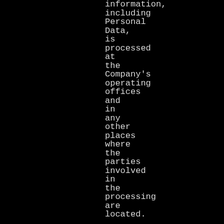information, including Personal Data, is processed at the Company's operating offices and in any other places where the parties involved in the processing are located.